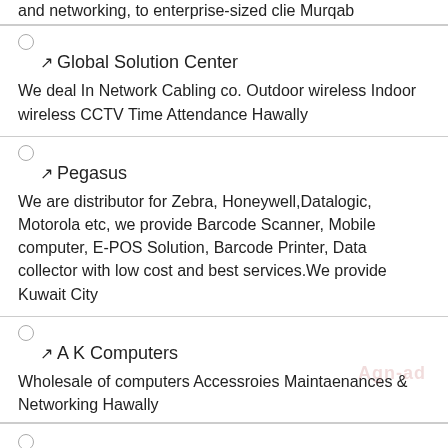and networking, to enterprise-sized clie Murqab
Global Solution Center — We deal In Network Cabling co. Outdoor wireless Indoor wireless CCTV Time Attendance Hawally
Pegasus — We are distributor for Zebra, Honeywell,Datalogic, Motorola etc, we provide Barcode Scanner, Mobile computer, E-POS Solution, Barcode Printer, Data collector with low cost and best services.We provide Kuwait City
A K Computers — Wholesale of computers Accessroies Maintaenances & Networking Hawally
Point of Sales POSIFLEX